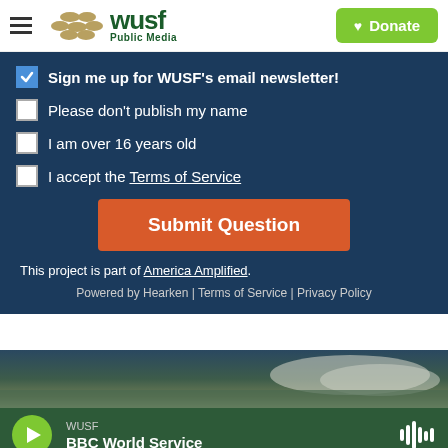[Figure (logo): WUSF Public Media logo with hamburger menu and green Donate button]
Sign me up for WUSF's email newsletter! (checked)
Please don't publish my name (unchecked)
I am over 16 years old (unchecked)
I accept the Terms of Service (unchecked)
Submit Question
This project is part of America Amplified.
Powered by Hearken | Terms of Service | Privacy Policy
[Figure (photo): Aerial landscape photo showing water and terrain]
WUSF
BBC World Service